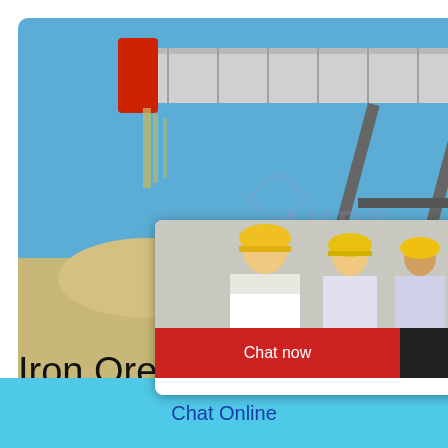[Figure (screenshot): Industrial conveyor/vibrating screen equipment with sand/ore material, blue sky background, with AKBT watermark logo]
[Figure (screenshot): Live chat popup overlay showing workers in hard hats, LIVE CHAT text in red italic, 'Click for a Free Consultation' subtitle, Chat now (red) and Chat later (dark) buttons, and a satisfaction gauge widget on the right with emoji faces and 'Click me to chat >>' button, plus Enquiry section]
Iron Ore Crusher Pric
Chat Online
cywaitml
@gmail.com